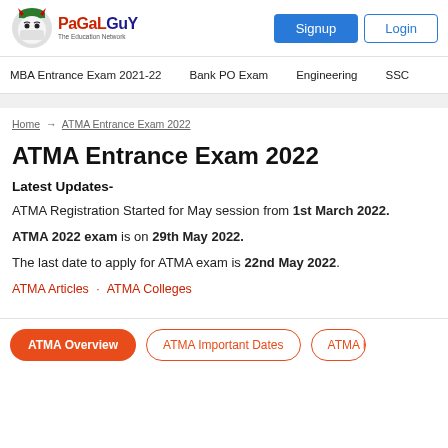PaGaLGuY The Education Network | Signup | Login
MBA Entrance Exam 2021-22 | Bank PO Exam | Engineering | SSC
Home → ATMA Entrance Exam 2022
ATMA Entrance Exam 2022
Latest Updates-
ATMA Registration Started for May session from 1st March 2022.
ATMA 2022 exam is on 29th May 2022.
The last date to apply for ATMA exam is 22nd May 2022.
ATMA Articles · ATMA Colleges
ATMA Overview | ATMA Important Dates | ATMA E...